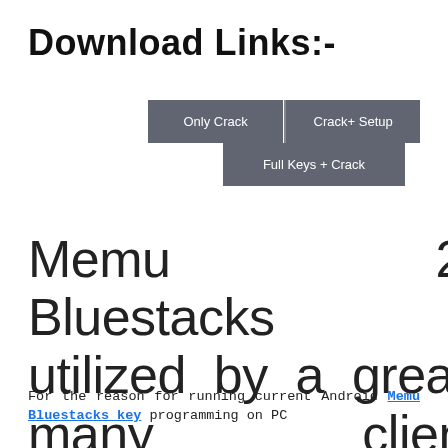Download Links:-
[Figure (infographic): Three grey button-style boxes arranged in two rows: 'Only Crack' and 'Crack+ Setup' side by side in the top row with a vertical divider, and 'Full Keys + Crack' centered below them.]
Memu 2021 Bluestacks key utilized by a great many clients nowadays.
For the reason for running current Android Memu Bluestacks key programming on PC